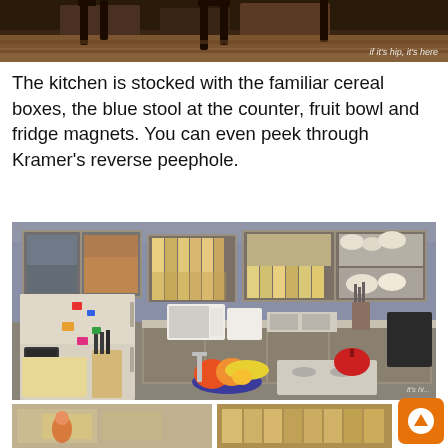[Figure (photo): Top portion of photo showing dark wooden chairs and hardwood floor with watermark 'if it's hip, it's here']
The kitchen is stocked with the familiar cereal boxes, the blue stool at the counter, fruit bowl and fridge magnets. You can even peek through Kramer's reverse peephole.
[Figure (photo): Interior photo of a replica kitchen set with gray/taupe cabinets, white refrigerator with magnets, knife block, fruit bowl with oranges and bananas, gas stovetop with red kettle, microwave, and various kitchen items on countertop. Resembles the Seinfeld TV show kitchen set.]
[Figure (photo): Bottom strip showing partial view of additional set photos]